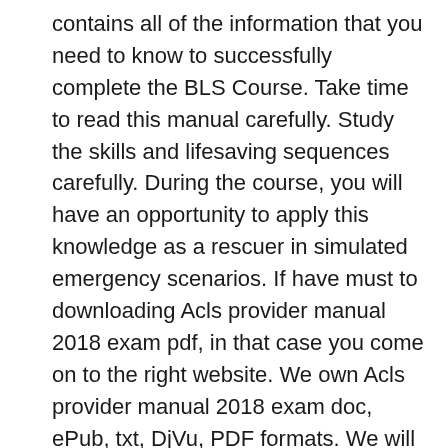contains all of the information that you need to know to successfully complete the BLS Course. Take time to read this manual carefully. Study the skills and lifesaving sequences carefully. During the course, you will have an opportunity to apply this knowledge as a rescuer in simulated emergency scenarios. If have must to downloading Acls provider manual 2018 exam pdf, in that case you come on to the right website. We own Acls provider manual 2018 exam doc, ePub, txt, DjVu, PDF formats. We will be happy if you get back us again. Acls Provider Manual 2018 Exam ACLS Basics Quiz 3 ACLS Certification Institute ACLS Certification Institute ACLS